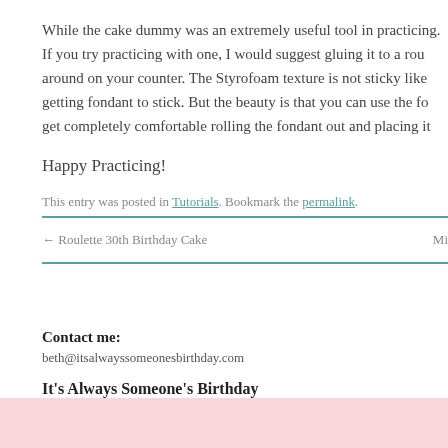While the cake dummy was an extremely useful tool in practicing. If you try practicing with one, I would suggest gluing it to a round around on your counter. The Styrofoam texture is not sticky like getting fondant to stick. But the beauty is that you can use the fondant get completely comfortable rolling the fondant out and placing it
Happy Practicing!
This entry was posted in Tutorials. Bookmark the permalink.
← Roulette 30th Birthday Cake  Mi
Contact me:
beth@itsalwayssomeonesbirthday.com
It's Always Someone's Birthday